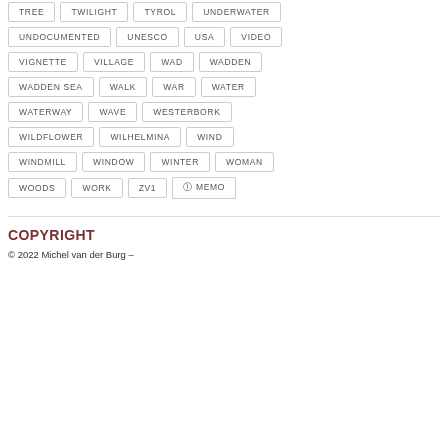TREE
TWILIGHT
TYROL
UNDERWATER
UNDOCUMENTED
UNESCO
USA
VIDEO
VIGNETTE
VILLAGE
WAD
WADDEN
WADDEN SEA
WALK
WAR
WATER
WATERWAY
WAVE
WESTERBORK
WILDFLOWER
WILHELMINA
WIND
WINDMILL
WINDOW
WINTER
WOMAN
WOODS
WORK
ZV1
ⓘ MEMO
COPYRIGHT
© 2022 Michel van der Burg –